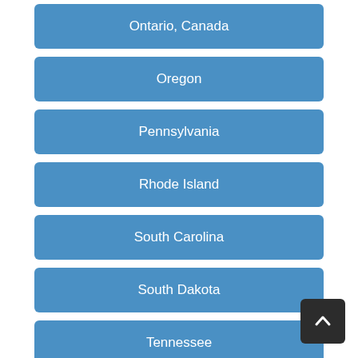Ontario, Canada
Oregon
Pennsylvania
Rhode Island
South Carolina
South Dakota
Tennessee
Texas
Utah
Vermont